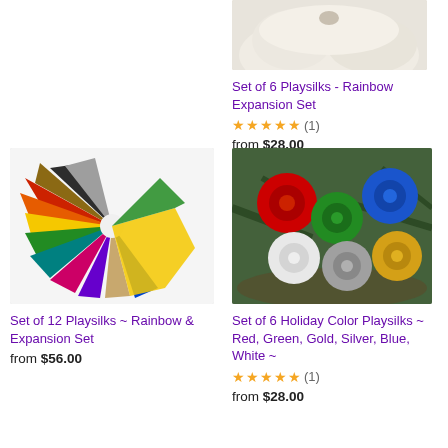[Figure (photo): Partial image of a white fluffy animal at top right corner]
Set of 6 Playsilks - Rainbow Expansion Set
★★★★★ (1)
from $28.00
[Figure (photo): Set of 12 colorful playsilks fanned out on white background showing rainbow and expansion colors]
Set of 12 Playsilks ~ Rainbow & Expansion Set
from $56.00
[Figure (photo): Set of 6 holiday color playsilks bundled as rosettes on pine branches - red, green, blue, gold, white, silver]
Set of 6 Holiday Color Playsilks ~ Red, Green, Gold, Silver, Blue, White ~
★★★★★ (1)
from $28.00